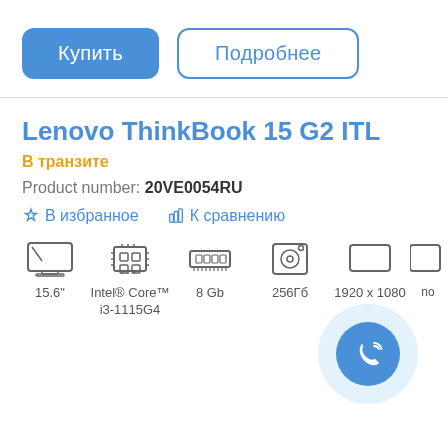Купить | Подробнее
Lenovo ThinkBook 15 G2 ITL
В транзите
Product number: 20VE0054RU
В избранное  К сравнению
[Figure (infographic): Specs icons row: 15.6 inch screen icon, Intel Core i3-1115G4 processor icon, 8 Gb RAM icon, 256Гб storage icon, 1920x1080 resolution icon, and a partial icon on the right edge. A call button (phone icon) floating at bottom right.]